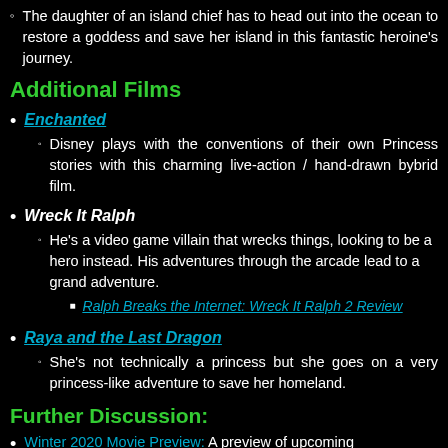The daughter of an island chief has to head out into the ocean to restore a goddess and save her island in this fantastic heroine's journey.
Additional Films
Enchanted
Disney plays with the conventions of their own Princess stories with this charming live-action / hand-drawn bybrid film.
Wreck It Ralph
He's a video game villain that wrecks things, looking to be a hero instead. His adventures through the arcade lead to a grand adventure.
Ralph Breaks the Internet: Wreck It Ralph 2 Review
Raya and the Last Dragon
She's not technically a princess but she goes on a very princess-like adventure to save her homeland.
Further Discussion:
Winter 2020 Movie Preview: A preview of upcoming